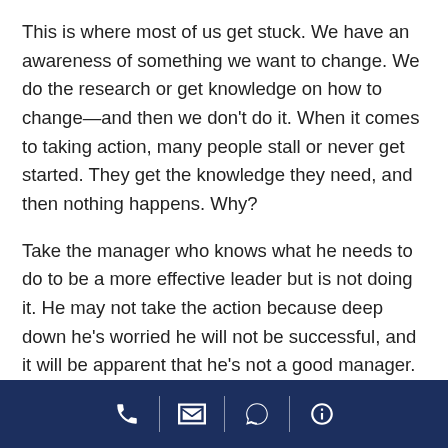This is where most of us get stuck. We have an awareness of something we want to change. We do the research or get knowledge on how to change—and then we don't do it. When it comes to taking action, many people stall or never get started. They get the knowledge they need, and then nothing happens. Why?
Take the manager who knows what he needs to do to be a more effective leader but is not doing it. He may not take the action because deep down he's worried he will not be successful, and it will be apparent that he's not a good manager. Or it seems overwhelming and he gets stuck with how to start. Perhaps he is not staying
phone | email | chat | info